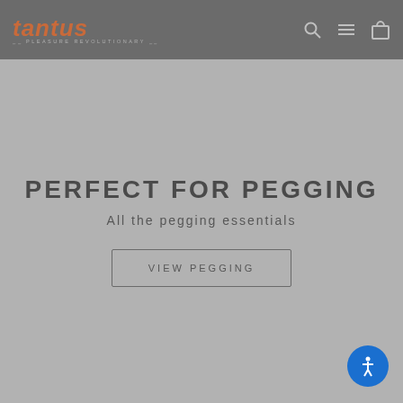Tantus — Pleasure Revolutionary navigation header
PERFECT FOR PEGGING
All the pegging essentials
VIEW PEGGING